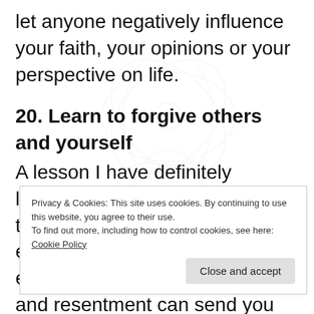let anyone negatively influence your faith, your opinions or your perspective on life.
20. Learn to forgive others and yourself
A lesson I have definitely learned in the last few years is that forgiveness never comes easy. Holding onto poisonous emotions such as hate, anger and resentment can send you spiralling down a road of unhappiness. As well
Privacy & Cookies: This site uses cookies. By continuing to use this website, you agree to their use.
To find out more, including how to control cookies, see here: Cookie Policy
Close and accept